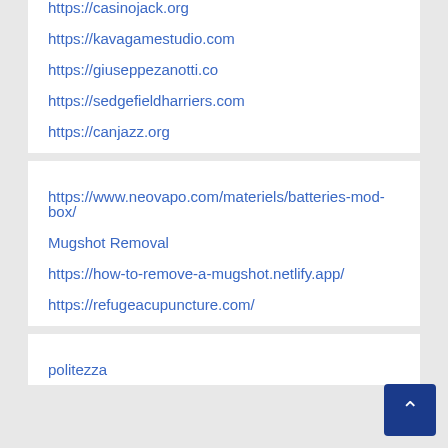https://casinojack.org
https://kavagamestudio.com
https://giuseppezanotti.co
https://sedgefieldharriers.com
https://canjazz.org
https://www.neovapo.com/materiels/batteries-mod-box/
Mugshot Removal
https://how-to-remove-a-mugshot.netlify.app/
https://refugeacupuncture.com/
politezza